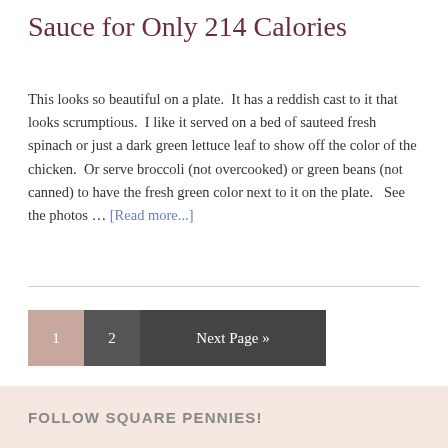Sauce for Only 214 Calories
This looks so beautiful on a plate.  It has a reddish cast to it that looks scrumptious.  I like it served on a bed of sauteed fresh spinach or just a dark green lettuce leaf to show off the color of the chicken.  Or serve broccoli (not overcooked) or green beans (not canned) to have the fresh green color next to it on the plate.   See the photos … [Read more...]
1 2 Next Page »
FOLLOW SQUARE PENNIES!